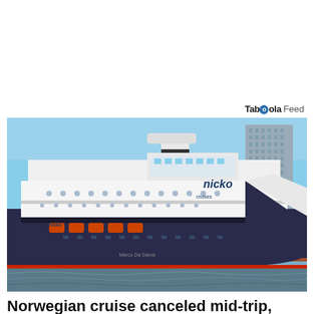Taboola Feed
[Figure (photo): Large cruise ship with 'nicko' branding docked at a port, with a tall modern skyscraper visible in the background. The ship is white and dark blue/black hull with a red waterline. Ship name reads 'Marco Da Gama' on the bow.]
Norwegian cruise canceled mid-trip, awaits return to New York